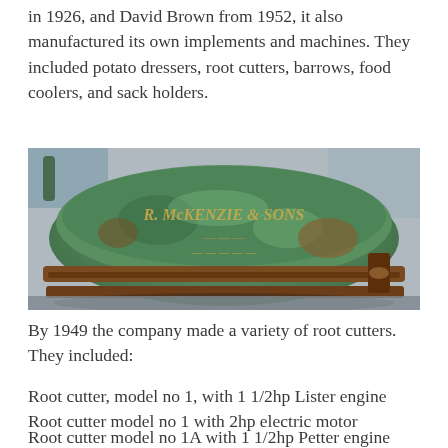in 1926, and David Brown from 1952, it also manufactured its own implements and machines. They included potato dressers, root cutters, barrows, food coolers, and sack holders.
[Figure (photo): A weathered green cast iron root cutter or agricultural machine with raised lettering reading 'R. McKENZIE & SONS' and partial text below, showing rust and patina on the metal surface.]
By 1949 the company made a variety of root cutters. They included:
Root cutter, model no 1, with 1 1/2hp Lister engine
Root cutter model no 1 with 2hp electric motor
Root cutter model no 1A with 1 1/2hp Petter engine